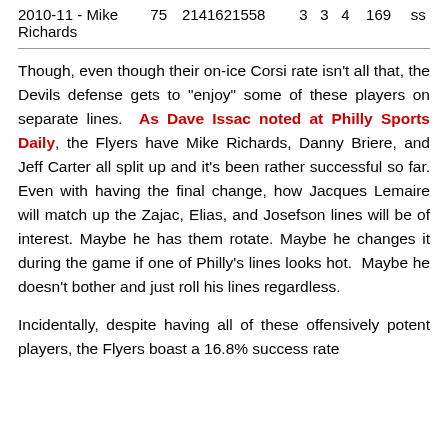| 2010-11 - Mike Richards | 75 | 2141621558 | 3 | 3 | 4 | 169 | ss |
Though, even though their on-ice Corsi rate isn't all that, the Devils defense gets to "enjoy" some of these players on separate lines. As Dave Issac noted at Philly Sports Daily, the Flyers have Mike Richards, Danny Briere, and Jeff Carter all split up and it's been rather successful so far. Even with having the final change, how Jacques Lemaire will match up the Zajac, Elias, and Josefson lines will be of interest. Maybe he has them rotate. Maybe he changes it during the game if one of Philly's lines looks hot. Maybe he doesn't bother and just roll his lines regardless.
Incidentally, despite having all of these offensively potent players, the Flyers boast a 16.8% success rate